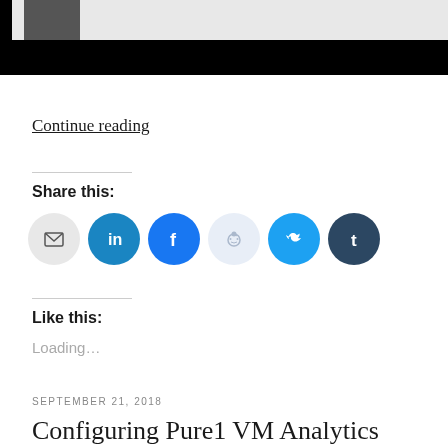[Figure (screenshot): Partial screenshot of a web page showing a dark header area with a lighter gray bar and dark square at the top, set against a black background.]
Continue reading
Share this:
[Figure (infographic): Row of social share icon buttons: Email (gray circle), LinkedIn (blue circle), Facebook (blue circle), Reddit (light blue circle), Twitter (blue circle), Tumblr (dark navy circle).]
Like this:
Loading...
SEPTEMBER 21, 2018
Configuring Pure1 VM Analytics